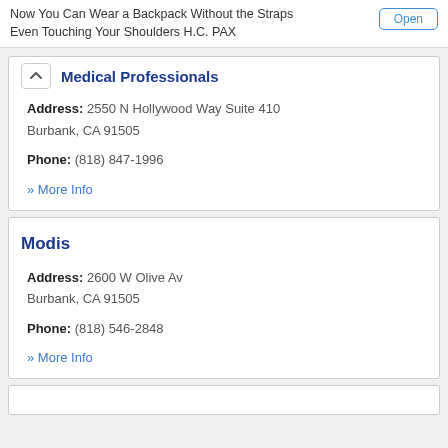Now You Can Wear a Backpack Without the Straps Even Touching Your Shoulders H.C. PAX
Medical Professionals
Address: 2550 N Hollywood Way Suite 410
Burbank, CA 91505
Phone: (818) 847-1996
» More Info
Modis
Address: 2600 W Olive Av
Burbank, CA 91505
Phone: (818) 546-2848
» More Info